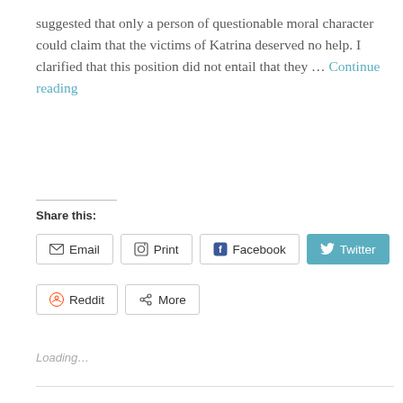suggested that only a person of questionable moral character could claim that the victims of Katrina deserved no help. I clarified that this position did not entail that they … Continue reading
Share this:
Email | Print | Facebook | Twitter | Reddit | More
Loading…